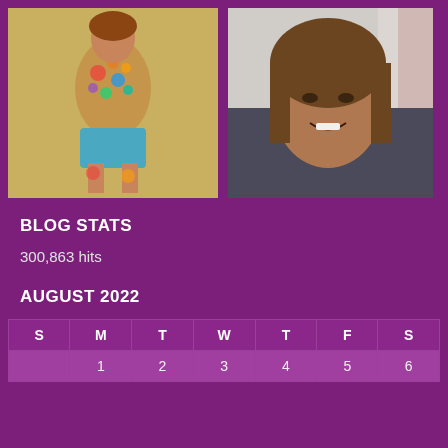[Figure (photo): Colorful ceramic or painted sculpture of a seated figure with multicolored patterned clothing, sitting on a chair against a beige wall]
[Figure (photo): Portrait photo of a smiling woman with brown hair, taken in what appears to be a vehicle or indoor setting]
BLOG STATS
300,863 hits
AUGUST 2022
| S | M | T | W | T | F | S |
| --- | --- | --- | --- | --- | --- | --- |
|  | 1 | 2 | 3 | 4 | 5 | 6 |